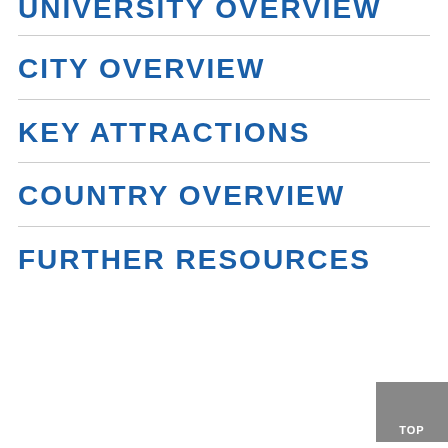UNIVERSITY OVERVIEW
CITY OVERVIEW
KEY ATTRACTIONS
COUNTRY OVERVIEW
FURTHER RESOURCES